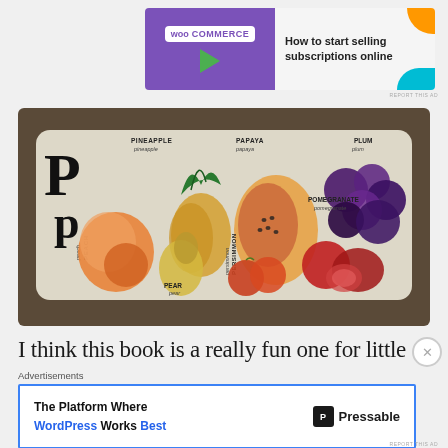[Figure (screenshot): WooCommerce advertisement banner: purple background with WooCommerce logo on left, green triangle arrow, white right section with text 'How to start selling subscriptions online', orange corner top-right, blue curved corner bottom-right]
[Figure (photo): Photograph of a children's alphabet board book open to the letter P page, showing colorful fruit illustrations: Pineapple, Papaya, Plum, Peach, Pear, Persimmon, Pomegranate, with the large letter Pp on the left side. Book is on a dark carpet/mat background.]
I think this book is a really fun one for little
[Figure (screenshot): Pressable advertisement: white box with blue border. Left: 'The Platform Where WordPress Works Best'. Right: Pressable logo with P icon. Labeled 'Advertisements' above.]